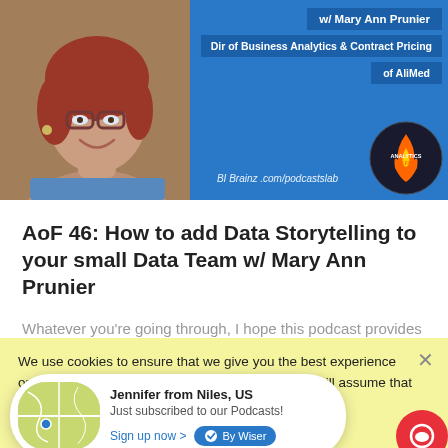[Figure (photo): Analytics on Fire podcast banner featuring Mary Ann Prunier, Dir of Business Analytics & Contract Pricing of AliMed, with BI Brainz website URL and Analytics on Fire logo]
AoF 46: How to add Data Storytelling to your small Data Team w/ Mary Ann Prunier
Whatever you're going through, I hope this podcast provides inspiration, education, and entertainment during these difficult times. Today's guest is
We use cookies to ensure that we give you the best experience on our website. If you continue to use this site we will assume that you are happy with it.
Jennifer from Niles, US
Just subscribed to our Podcasts!